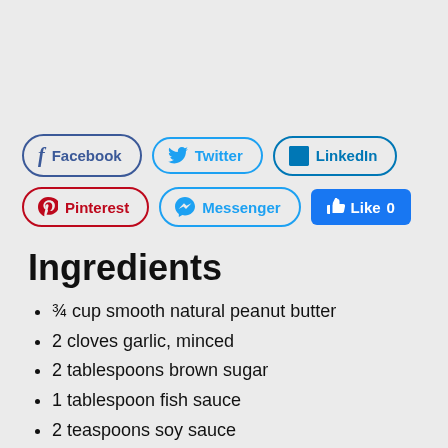[Figure (other): Social sharing buttons: Facebook, Twitter, LinkedIn, Pinterest, Messenger, and a Facebook Like button]
Ingredients
¾ cup smooth natural peanut butter
2 cloves garlic, minced
2 tablespoons brown sugar
1 tablespoon fish sauce
2 teaspoons soy sauce
2 teaspoons toasted sesame oil